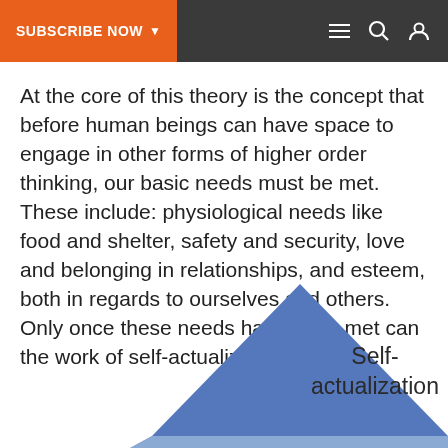SUBSCRIBE NOW ▾
At the core of this theory is the concept that before human beings can have space to engage in other forms of higher order thinking, our basic needs must be met. These include: physiological needs like food and shelter, safety and security, love and belonging in relationships, and esteem, both in regards to ourselves and others. Only once these needs have been met can the work of self-actualization begin.
[Figure (infographic): Maslow's hierarchy of needs pyramid, partially visible. The top section is blue with the label 'Self-actualization' in dark text. A second lighter blue tier is visible at the bottom.]